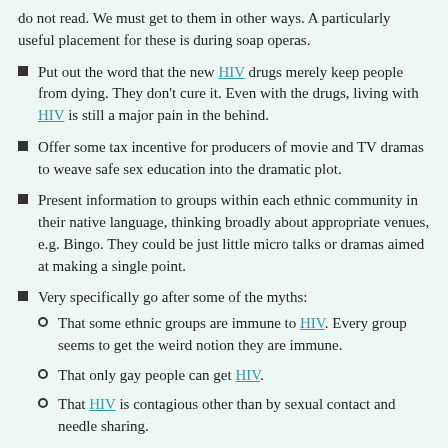do not read. We must get to them in other ways. A particularly useful placement for these is during soap operas.
Put out the word that the new HIV drugs merely keep people from dying. They don't cure it. Even with the drugs, living with HIV is still a major pain in the behind.
Offer some tax incentive for producers of movie and TV dramas to weave safe sex education into the dramatic plot.
Present information to groups within each ethnic community in their native language, thinking broadly about appropriate venues, e.g. Bingo. They could be just little micro talks or dramas aimed at making a single point.
Very specifically go after some of the myths:
That some ethnic groups are immune to HIV. Every group seems to get the weird notion they are immune.
That only gay people can get HIV.
That HIV is contagious other than by sexual contact and needle sharing.